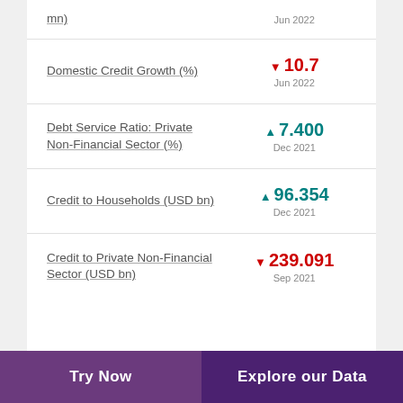Domestic Credit Growth (%)
Debt Service Ratio: Private Non-Financial Sector (%)
Credit to Households (USD bn)
Credit to Private Non-Financial Sector (USD bn)
Try Now | Explore our Data